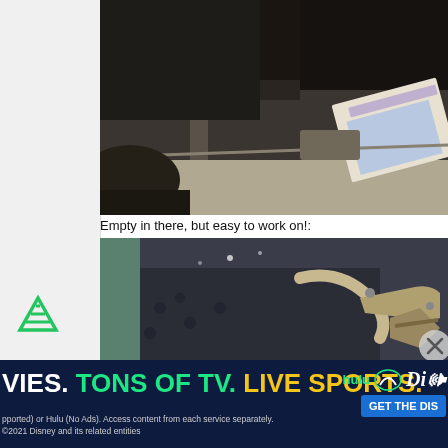[Figure (photo): Ad sidebar area with gray background on the left side of the page with a green triangle/filter icon at the bottom]
[Figure (photo): Photo of dark rusty mechanical components, undercarriage of a vehicle showing metal parts, with a magazine/paper visible in the upper right]
Empty in there, but easy to work on!:
[Figure (photo): Photo of interior of a vehicle undercarriage or trunk area, dark with some metal components and hoses visible, with a circular close button overlay]
[Figure (infographic): Hulu Disney bundle advertisement banner at the bottom showing: MOVIES. TONS OF TV. LIVE SPORTS. with hulu and Disney logos and GET THE DIS button. Fine print: (supported) or Hulu (No Ads). Access content from each service separately. ©2021 Disney and its related entities]